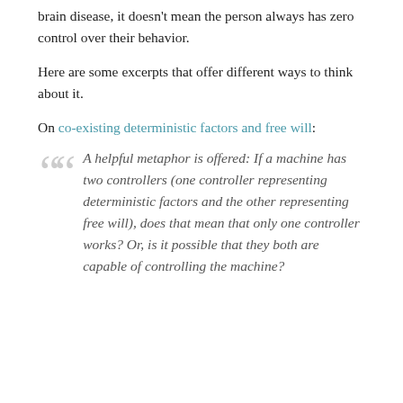brain disease, it doesn't mean the person always has zero control over their behavior.
Here are some excerpts that offer different ways to think about it.
On co-existing deterministic factors and free will:
A helpful metaphor is offered: If a machine has two controllers (one controller representing deterministic factors and the other representing free will), does that mean that only one controller works? Or, is it possible that they both are capable of controlling the machine?